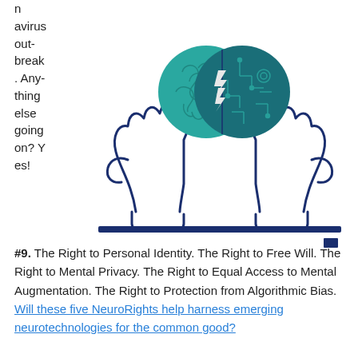avirus outbreak. Anything else going on? Yes!
[Figure (illustration): Illustration of two hands holding a brain that is half organic (teal neural patterns) and half digital/circuit board (dark teal with circuit patterns), with lightning bolt symbols between the two halves. Below the brain, a dark navy horizontal bar spans the width. A small dark navy square appears at the bottom right.]
#9. The Right to Personal Identity. The Right to Free Will. The Right to Mental Privacy. The Right to Equal Access to Mental Augmentation. The Right to Protection from Algorithmic Bias. Will these five NeuroRights help harness emerging neurotechnologies for the common good?